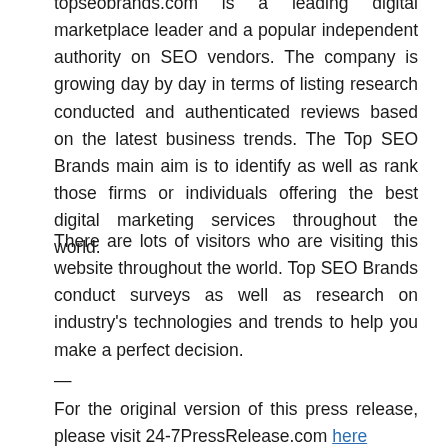topseobrands.com is a leading digital marketplace leader and a popular independent authority on SEO vendors. The company is growing day by day in terms of listing research conducted and authenticated reviews based on the latest business trends. The Top SEO Brands main aim is to identify as well as rank those firms or individuals offering the best digital marketing services throughout the world.
There are lots of visitors who are visiting this website throughout the world. Top SEO Brands conduct surveys as well as research on industry's technologies and trends to help you make a perfect decision.
—
For the original version of this press release, please visit 24-7PressRelease.com here